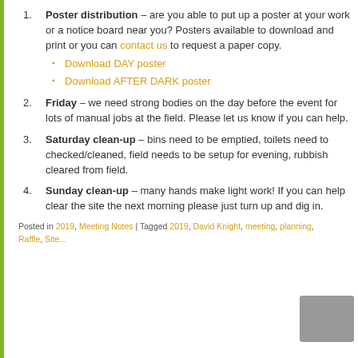Poster distribution – are you able to put up a poster at your work or a notice board near you? Posters available to download and print or you can contact us to request a paper copy.
• Download DAY poster
• Download AFTER DARK poster
Friday – we need strong bodies on the day before the event for lots of manual jobs at the field. Please let us know if you can help.
Saturday clean-up – bins need to be emptied, toilets need to checked/cleaned, field needs to be setup for evening, rubbish cleared from field.
Sunday clean-up – many hands make light work! If you can help clear the site the next morning please just turn up and dig in.
Posted in 2019, Meeting Notes | Tagged 2019, David Knight, meeting, planning,
Raffle, Site...